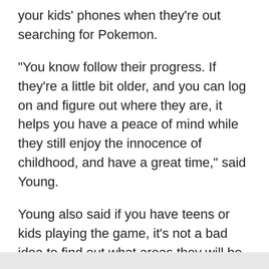your kids' phones when they're out searching for Pokemon.
"You know follow their progress. If they're a little bit older, and you can log on and figure out where they are, it helps you have a peace of mind while they still enjoy the innocence of childhood, and have a great time," said Young.
Young also said if you have teens or kids playing the game, it's not a bad idea to find out what areas they will be in, and then do a search on the DPS Sex Offender Registry website just in case.
Online: http://www.azdps.gov/services/sex_offender